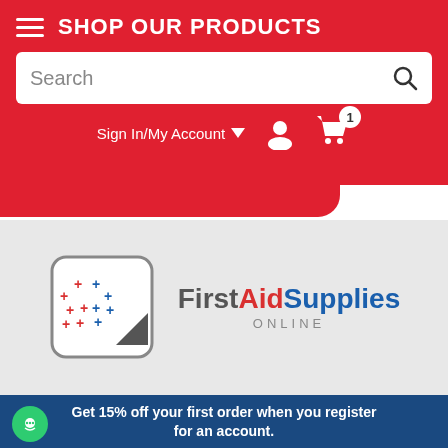SHOP OUR PRODUCTS
Search
Sign In/My Account
[Figure (logo): First Aid Supplies Online logo with plus signs in red and blue colors and a square bracket design]
Get 15% off your first order when you register for an account.